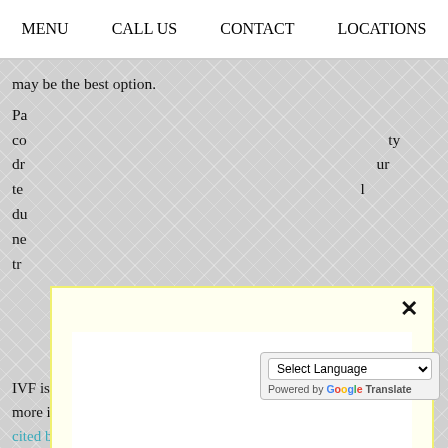MENU   CALL US   CONTACT   LOCATIONS
may be the best option.
Pa... co... dr... ur te... du... ne... tr...
[Figure (screenshot): COVID-19 announcement modal popup with yellow border and white inner box containing teal link text: COVID-19 Announcement from the Practice. Has a close (×) button in upper right.]
How Effective Is IVF?
IVF is a generally more effective fertility there is more involvement by fertility doctors. According to some estimates cited by WebMD, the success rate for IVF is around 29.4